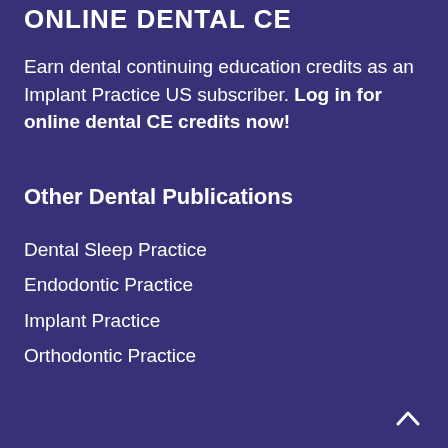ONLINE DENTAL CE
Earn dental continuing education credits as an Implant Practice US subscriber. Log in for online dental CE credits now!
Other Dental Publications
Dental Sleep Practice
Endodontic Practice
Implant Practice
Orthodontic Practice